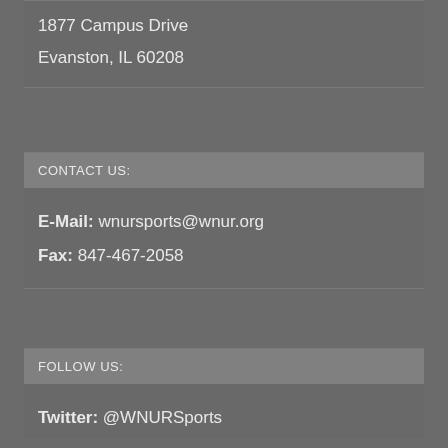1877 Campus Drive
Evanston, IL 60208
CONTACT US:
E-Mail: wnursports@wnur.org
Fax: 847-467-2058
FOLLOW US:
Twitter: @WNURSports